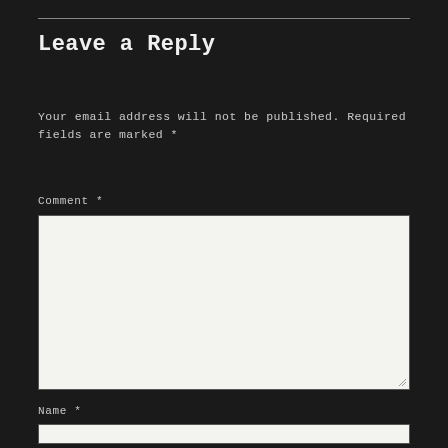Leave a Reply
Your email address will not be published. Required fields are marked *
Comment *
[Figure (other): Empty comment textarea input box with light background and resize handle]
Name *
[Figure (other): Empty name text input box with light background]